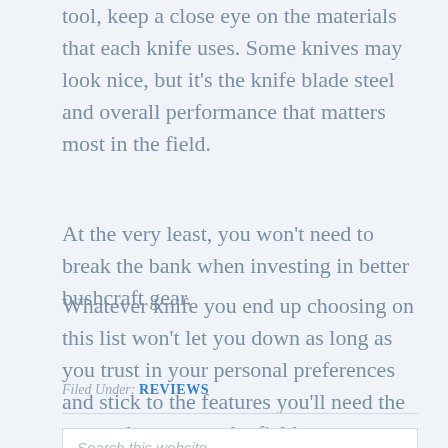tool, keep a close eye on the materials that each knife uses. Some knives may look nice, but it's the knife blade steel and overall performance that matters most in the field.
At the very least, you won't need to break the bank when investing in better bushcraft gear.
Whatever knife you end up choosing on this list won't let you down as long as you trust in your personal preferences and stick to the features you'll need the most when out on the field.
Filed Under: REVIEWS
Search this website